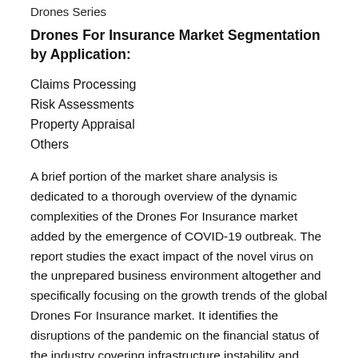Drones Series
Drones For Insurance Market Segmentation by Application:
Claims Processing
Risk Assessments
Property Appraisal
Others
A brief portion of the market share analysis is dedicated to a thorough overview of the dynamic complexities of the Drones For Insurance market added by the emergence of COVID-19 outbreak. The report studies the exact impact of the novel virus on the unprepared business environment altogether and specifically focusing on the growth trends of the global Drones For Insurance market. It identifies the disruptions of the pandemic on the financial status of the industry covering infrastructure instability and collapse of the